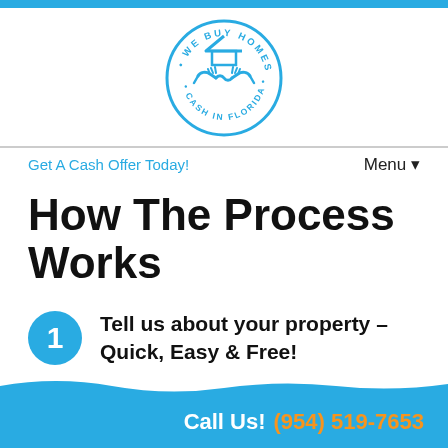[Figure (logo): Circular logo for 'We Buy Homes Cash In Florida' featuring a handshake icon with a house roof above, in blue outline style]
Get A Cash Offer Today!
Menu ▾
How The Process Works
1  Tell us about your property – Quick, Easy & Free!
Call Us! (954) 519-7653